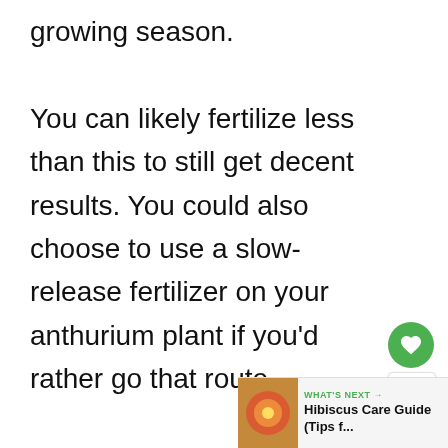growing season.

You can likely fertilize less than this to still get decent results. You could also choose to use a slow-release fertilizer on your anthurium plant if you'd rather go that route.
[Figure (other): Green heart/like button with count 339 and share button]
[Figure (other): What's Next banner: Hibiscus Care Guide (Tips f...]